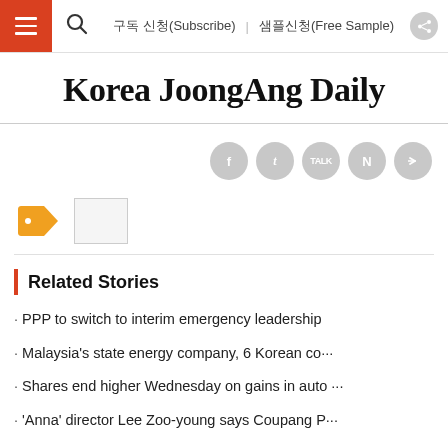구독 신청(Subscribe)  샘플신청(Free Sample)
Korea JoongAng Daily
[Figure (infographic): Social sharing icons: Facebook, Twitter, KakaoTalk, Naver, and a share/forward button, all in gray circles]
[Figure (infographic): An orange price tag icon and a small thumbnail image placeholder (white rectangle with gray border)]
Related Stories
PPP to switch to interim emergency leadership
Malaysia's state energy company, 6 Korean co···
Shares end higher Wednesday on gains in auto ···
'Anna' director Lee Zoo-young says Coupang P···